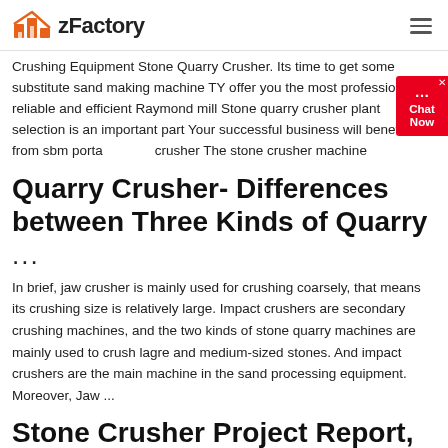zFactory
Crushing Equipment Stone Quarry Crusher. Its time to get some substitute sand making machine TY offer you the most professional reliable and efficient Raymond mill Stone quarry crusher plant selection is an important part Your successful business will benefits from sbm portable crusher The stone crusher machine
Quarry Crusher- Differences between Three Kinds of Quarry ...
In brief, jaw crusher is mainly used for crushing coarsely, that means its crushing size is relatively large. Impact crushers are secondary crushing machines, and the two kinds of stone quarry machines are mainly used to crush lagre and medium-sized stones. And impact crushers are the main machine in the sand processing equipment. Moreover, Jaw ...
Stone Crusher Project Report, Stone Quarry Crushing Plant ...